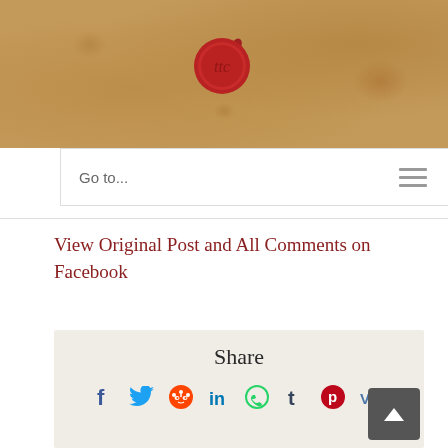[Figure (illustration): Website header banner with aged parchment/kraft paper texture background in warm brown/tan tones with a red wax seal emblem centered at the top]
Go to...
View Original Post and All Comments on Facebook
Share
[Figure (infographic): Social sharing icons row: Facebook (f), Twitter (bird), Reddit (alien), LinkedIn (in), WhatsApp (phone), Tumblr (t), Pinterest (p), VK (VK)]